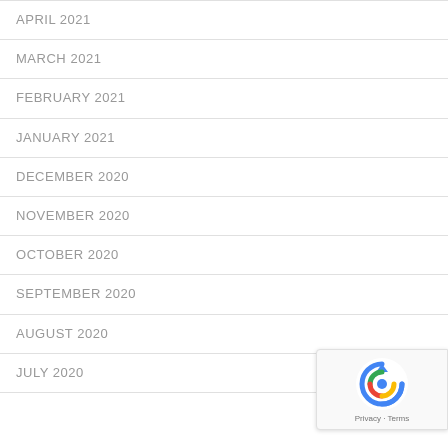APRIL 2021
MARCH 2021
FEBRUARY 2021
JANUARY 2021
DECEMBER 2020
NOVEMBER 2020
OCTOBER 2020
SEPTEMBER 2020
AUGUST 2020
JULY 2020
[Figure (logo): Google reCAPTCHA badge with arrow logo and Privacy - Terms text]